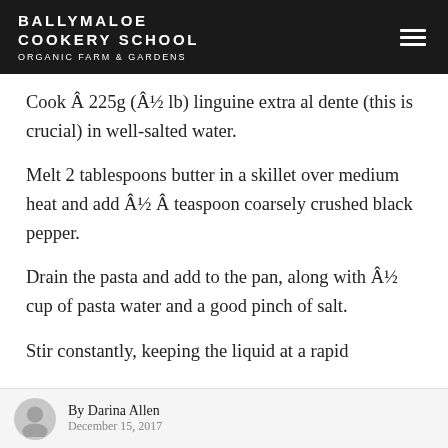BALLYMALOE COOKERY SCHOOL ORGANIC FARM & GARDENS
Cook Â 225g (Â½ lb) linguine extra al dente (this is crucial) in well-salted water.
Melt 2 tablespoons butter in a skillet over medium heat and add Â½ Â teaspoon coarsely crushed black pepper.
Drain the pasta and add to the pan, along with Â½ cup of pasta water and a good pinch of salt.
Stir constantly, keeping the liquid at a rapid
By Darina Allen
December 15, 2017